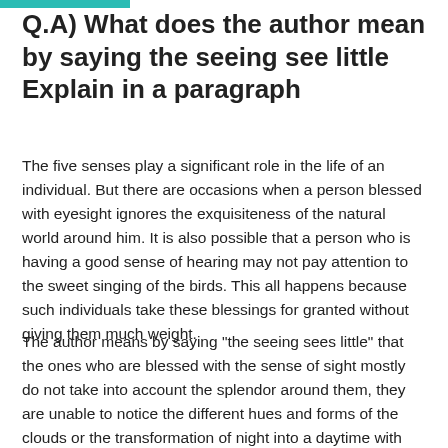Q.A) What does the author mean by saying the seeing see little Explain in a paragraph
The five senses play a significant role in the life of an individual. But there are occasions when a person blessed with eyesight ignores the exquisiteness of the natural world around him. It is also possible that a person who is having a good sense of hearing may not pay attention to the sweet singing of the birds. This all happens because such individuals take these blessings for granted without giving them much weight.
The author means by saying “the seeing sees little” that the ones who are blessed with the sense of sight mostly do not take into account the splendor around them, they are unable to notice the different hues and forms of the clouds or the transformation of night into a daytime with the rising of the golden sun. On the other hand, those who cannot